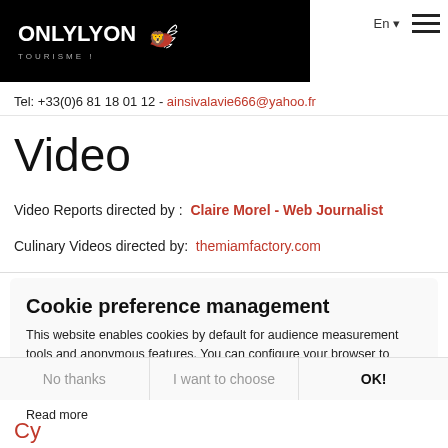ONLYLYON TOURISME | En | Menu
Tel: +33(0)6 81 18 01 12 - ainsivalavie666@yahoo.fr
Video
Video Reports directed by :  Claire Morel - Web Journalist
Culinary Videos directed by:  themiamfactory.com
Cookie preference management
This website enables cookies by default for audience measurement tools and anonymous features. You can configure your browser to block or be informed of the existence of these cookies. These cookies do not store any personally identifying information.
Read more
No thanks | I want to choose | OK!